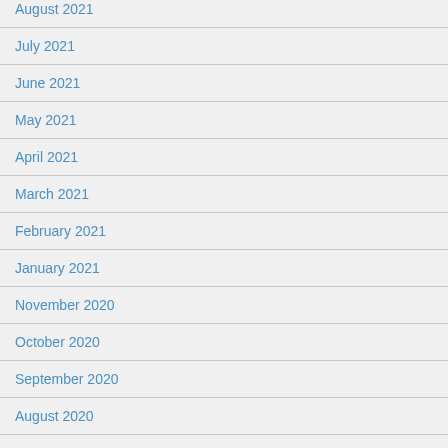August 2021
July 2021
June 2021
May 2021
April 2021
March 2021
February 2021
January 2021
November 2020
October 2020
September 2020
August 2020